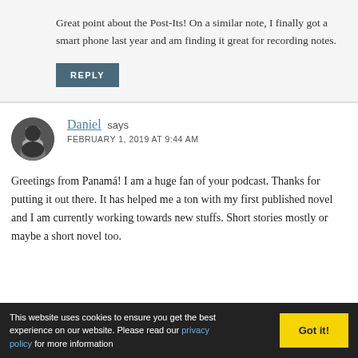Great point about the Post-Its! On a similar note, I finally got a smart phone last year and am finding it great for recording notes.
REPLY
Daniel says
FEBRUARY 1, 2019 AT 9:44 AM
Greetings from Panamá! I am a huge fan of your podcast. Thanks for putting it out there. It has helped me a ton with my first published novel and I am currently working towards new stuffs. Short stories mostly or maybe a short novel too.
This website uses cookies to ensure you get the best experience on our website. Please read our privacy policy for more information